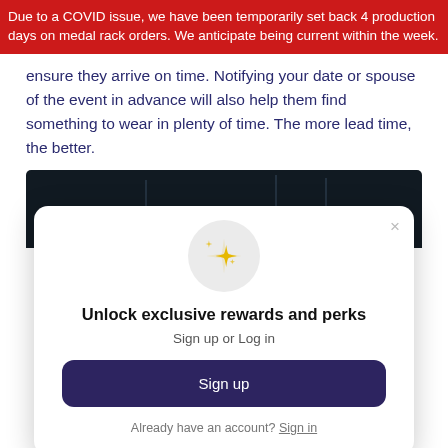Due to a COVID issue, we have been temporarily set back 4 production days on medal rack orders. We anticipate being current within the week.
ensure they arrive on time. Notifying your date or spouse of the event in advance will also help them find something to wear in plenty of time. The more lead time, the better.
[Figure (screenshot): A modal dialog overlaid on a dark background. The modal shows a sparkle icon in a grey circle, the heading 'Unlock exclusive rewards and perks', subtext 'Sign up or Log in', a dark navy 'Sign up' button, and a footer line 'Already have an account? Sign in'.]